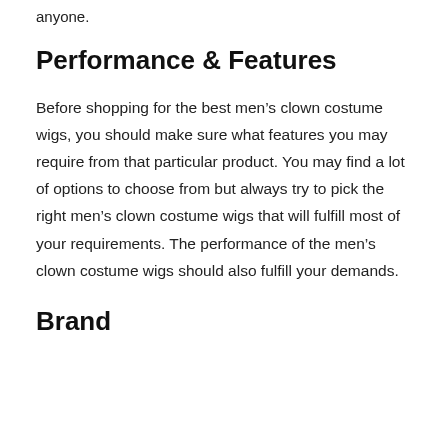anyone.
Performance & Features
Before shopping for the best men’s clown costume wigs, you should make sure what features you may require from that particular product. You may find a lot of options to choose from but always try to pick the right men’s clown costume wigs that will fulfill most of your requirements. The performance of the men’s clown costume wigs should also fulfill your demands.
Brand